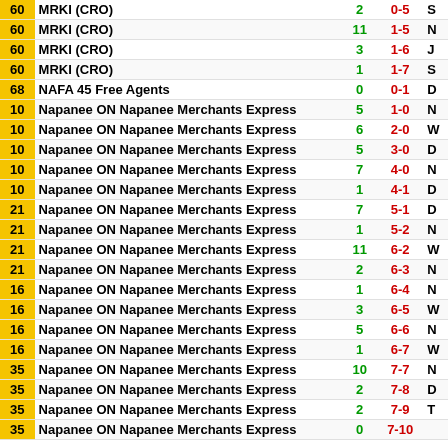| # | Team | Goals | Record |  |
| --- | --- | --- | --- | --- |
| 60 | MRKI (CRO) | 2 | 0-5 | S |
| 60 | MRKI (CRO) | 11 | 1-5 | N |
| 60 | MRKI (CRO) | 3 | 1-6 | J |
| 60 | MRKI (CRO) | 1 | 1-7 | S |
| 68 | NAFA 45 Free Agents | 0 | 0-1 | D |
| 10 | Napanee ON Napanee Merchants Express | 5 | 1-0 | N |
| 10 | Napanee ON Napanee Merchants Express | 6 | 2-0 | W |
| 10 | Napanee ON Napanee Merchants Express | 5 | 3-0 | D |
| 10 | Napanee ON Napanee Merchants Express | 7 | 4-0 | N |
| 10 | Napanee ON Napanee Merchants Express | 1 | 4-1 | D |
| 21 | Napanee ON Napanee Merchants Express | 7 | 5-1 | D |
| 21 | Napanee ON Napanee Merchants Express | 1 | 5-2 | N |
| 21 | Napanee ON Napanee Merchants Express | 11 | 6-2 | W |
| 21 | Napanee ON Napanee Merchants Express | 2 | 6-3 | N |
| 16 | Napanee ON Napanee Merchants Express | 1 | 6-4 | N |
| 16 | Napanee ON Napanee Merchants Express | 3 | 6-5 | W |
| 16 | Napanee ON Napanee Merchants Express | 5 | 6-6 | N |
| 16 | Napanee ON Napanee Merchants Express | 1 | 6-7 | W |
| 35 | Napanee ON Napanee Merchants Express | 10 | 7-7 | N |
| 35 | Napanee ON Napanee Merchants Express | 2 | 7-8 | D |
| 35 | Napanee ON Napanee Merchants Express | 2 | 7-9 | T |
| 35 | Napanee ON Napanee Merchants Express | 0 | 7-10 |  |